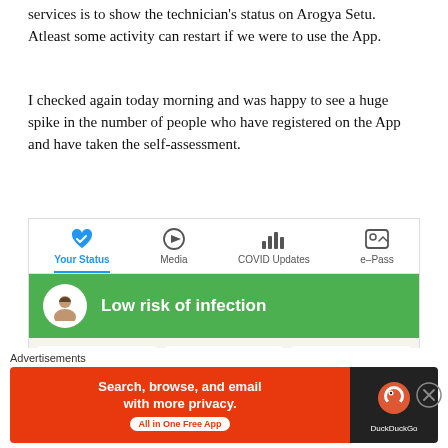services is to show the technician's status on Arogya Setu. Atleast some activity can restart if we were to use the App.
I checked again today morning and was happy to see a huge spike in the number of people who have registered on the App and have taken the self-assessment.
[Figure (screenshot): Screenshot of Arogya Setu app showing tab bar with Your Status (active, blue), Media, COVID Updates, e-Pass tabs. Below is a green panel showing 'Low risk of infection' with a female avatar icon. Below that are three partially visible cards.]
Advertisements
[Figure (screenshot): DuckDuckGo advertisement banner: 'Search, browse, and email with more privacy. All in One Free App' with DuckDuckGo logo on dark right side.]